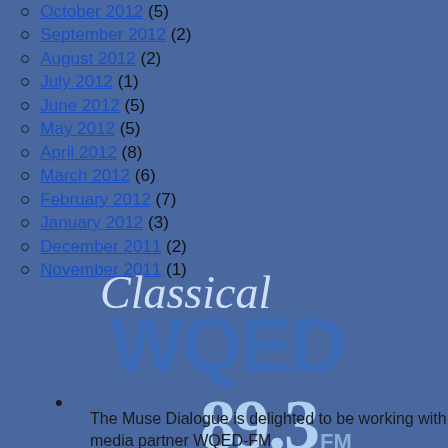October 2012 (5)
September 2012 (2)
August 2012 (2)
July 2012 (1)
June 2012 (5)
May 2012 (5)
April 2012 (8)
March 2012 (6)
February 2012 (7)
January 2012 (3)
December 2011 (2)
November 2011 (1)
[Figure (logo): Classical WQED 89.3 FM logo with italic script 'Classical' text above large bold 'WQED' and '89.3 FM' frequency]
bullet point
The Muse Dialogue is delighted to be working with media partner WQED-FM